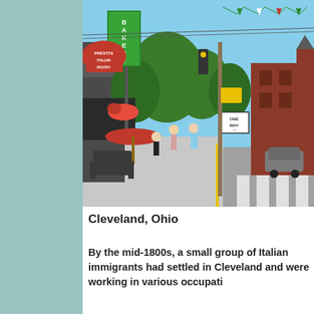[Figure (photo): Street scene in Cleveland, Ohio showing Presti's Italian Pastry Bakery storefront with a red umbrella over outdoor seating, pedestrians on the sidewalk, trees, a One Way sign, and historic red brick buildings in the background.]
Cleveland, Ohio
By the mid-1800s, a small group of Italian immigrants had settled in Cleveland and were working in various occupations...